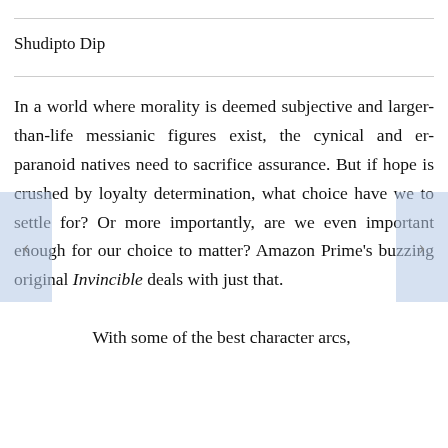Shudipto Dip
In a world where morality is deemed subjective and larger-than-life messianic figures exist, the cynical and er-paranoid natives need to sacrifice assurance. But if hope is crushed by loyalty determination, what choice have we to settle for? Or more importantly, are we even important enough for our choice to matter? Amazon Prime’s buzzing original Invincible deals with just that.
With some of the best character arcs,